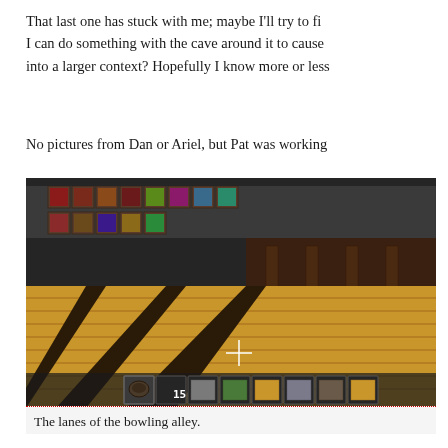That last one has stuck with me; maybe I'll try to fi... I can do something with the cave around it to cause... into a larger context? Hopefully I know more or less...
No pictures from Dan or Ariel, but Pat was working...
[Figure (screenshot): Minecraft screenshot showing the interior of a bowling alley with wooden lanes extending into the distance, dark wood gutters/dividers on the sides, and a toolbar/hotbar at the bottom of the screen with items. Colorful item frames are visible on the back wall.]
The lanes of the bowling alley.